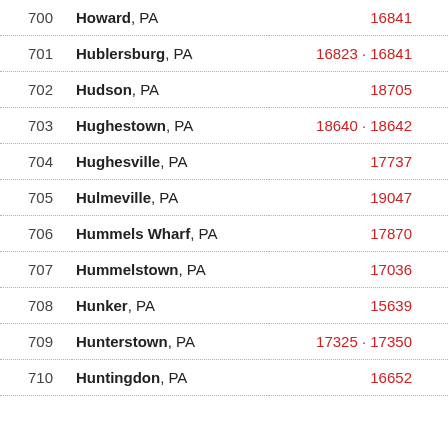| # | City | ZIP Code(s) |
| --- | --- | --- |
| 700 | Howard, PA | 16841 |
| 701 | Hublersburg, PA | 16823 · 16841 |
| 702 | Hudson, PA | 18705 |
| 703 | Hughestown, PA | 18640 · 18642 |
| 704 | Hughesville, PA | 17737 |
| 705 | Hulmeville, PA | 19047 |
| 706 | Hummels Wharf, PA | 17870 |
| 707 | Hummelstown, PA | 17036 |
| 708 | Hunker, PA | 15639 |
| 709 | Hunterstown, PA | 17325 · 17350 |
| 710 | Huntingdon, PA | 16652 |